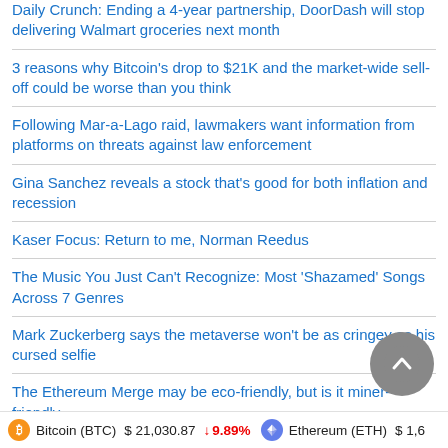Daily Crunch: Ending a 4-year partnership, DoorDash will stop delivering Walmart groceries next month
3 reasons why Bitcoin's drop to $21K and the market-wide sell-off could be worse than you think
Following Mar-a-Lago raid, lawmakers want information from platforms on threats against law enforcement
Gina Sanchez reveals a stock that's good for both inflation and recession
Kaser Focus: Return to me, Norman Reedus
The Music You Just Can't Recognize: Most 'Shazamed' Songs Across 7 Genres
Mark Zuckerberg says the metaverse won't be as cringey as his cursed selfie
The Ethereum Merge may be eco-friendly, but is it miner-friendly
Bitcoin (BTC)  $ 21,030.87  ↓ 9.89%    Ethereum (ETH)  $ 1,6...